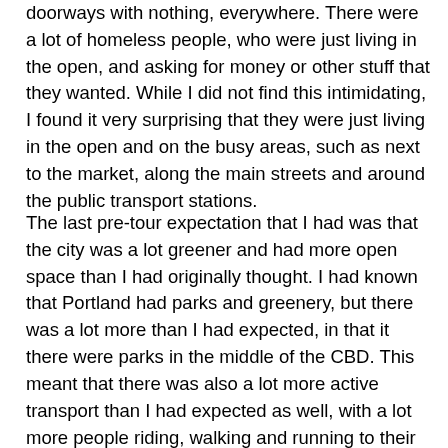doorways with nothing, everywhere. There were a lot of homeless people, who were just living in the open, and asking for money or other stuff that they wanted. While I did not find this intimidating, I found it very surprising that they were just living in the open and on the busy areas, such as next to the market, along the main streets and around the public transport stations.
The last pre-tour expectation that I had was that the city was a lot greener and had more open space than I had originally thought. I had known that Portland had parks and greenery, but there was a lot more than I had expected, in that it there were parks in the middle of the CBD. This meant that there was also a lot more active transport than I had expected as well, with a lot more people riding, walking and running to their destinations then I had thought pre-tour. Overall, Portland was a lot different to my pre-tour expectations, in good ways, and in bad. In good ways, it was a lot more open and spacious than I thought. In bad ways, it was a lot more grungy, and older than I thought, with abandoned buildings and urban decay, as well as a lot more homeless than I